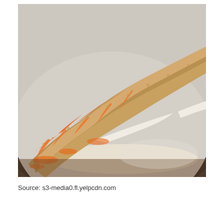[Figure (photo): Close-up photo of sushi rolls topped with panko breadcrumbs and orange spicy mayo sauce drizzled over the top, served on a white plate with a dark rim, placed on a wooden table surface.]
Source: s3-media0.fl.yelpcdn.com